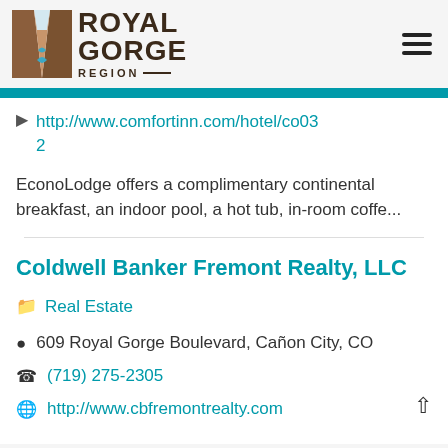Royal Gorge Region
http://www.comfortinn.com/hotel/co032
EconoLodge offers a complimentary continental breakfast, an indoor pool, a hot tub, in-room coffe...
Coldwell Banker Fremont Realty, LLC
Real Estate
609 Royal Gorge Boulevard, Cañon City, CO
(719) 275-2305
http://www.cbfremontrealty.com